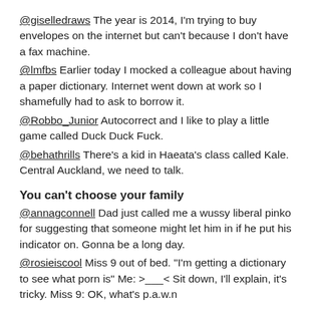@giselledraws The year is 2014, I'm trying to buy envelopes on the internet but can't because I don't have a fax machine.
@lmfbs Earlier today I mocked a colleague about having a paper dictionary. Internet went down at work so I shamefully had to ask to borrow it.
@Robbo_Junior Autocorrect and I like to play a little game called Duck Duck Fuck.
@behathrills There's a kid in Haeata's class called Kale. Central Auckland, we need to talk.
You can't choose your family
@annagconnell Dad just called me a wussy liberal pinko for suggesting that someone might let him in if he put his indicator on. Gonna be a long day.
@rosieiscool Miss 9 out of bed. "I'm getting a dictionary to see what porn is" Me: >___< Sit down, I'll explain, it's tricky. Miss 9: OK, what's p.a.w.n